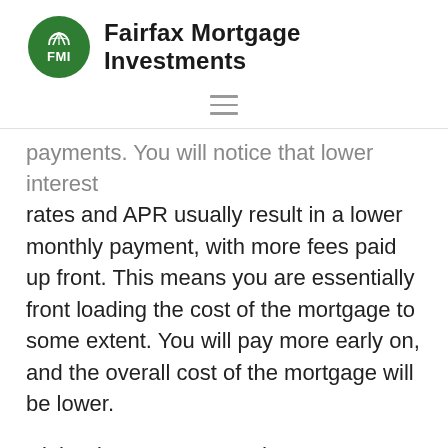Fairfax Mortgage Investments
payments. You will notice that lower interest rates and APR usually result in a lower monthly payment, with more fees paid up front. This means you are essentially front loading the cost of the mortgage to some extent. You will pay more early on, and the overall cost of the mortgage will be lower.
Higher interest rates and APR come with much lower fees to be paid up front, because the cost is spread out over the